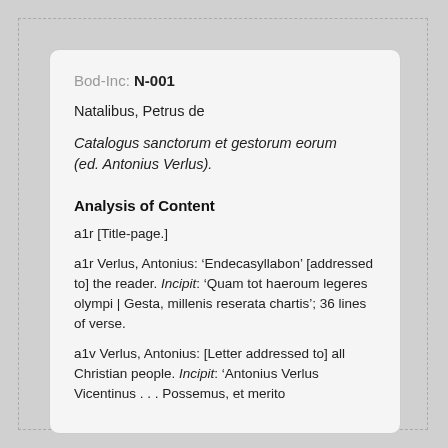Bod-Inc: N-001
Natalibus, Petrus de
Catalogus sanctorum et gestorum eorum (ed. Antonius Verlus).
Analysis of Content
a1r [Title-page.]
a1r Verlus, Antonius: ‘Endecasyllabon’ [addressed to] the reader. Incipit: ‘Quam tot haeroum legeres olympi | Gesta, millenis reserata chartis’; 36 lines of verse.
a1v Verlus, Antonius: [Letter addressed to] all Christian people. Incipit: ‘Antonius Verlus Vicentinus . . . Possemus, et merito